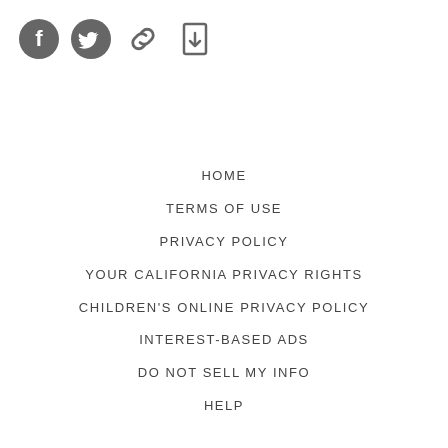[Figure (infographic): Social media share icons: Facebook (circle with f), Twitter (bird), Link/chain, Download document. Four icons in a row, dark gray color.]
HOME
TERMS OF USE
PRIVACY POLICY
YOUR CALIFORNIA PRIVACY RIGHTS
CHILDREN'S ONLINE PRIVACY POLICY
INTEREST-BASED ADS
DO NOT SELL MY INFO
HELP